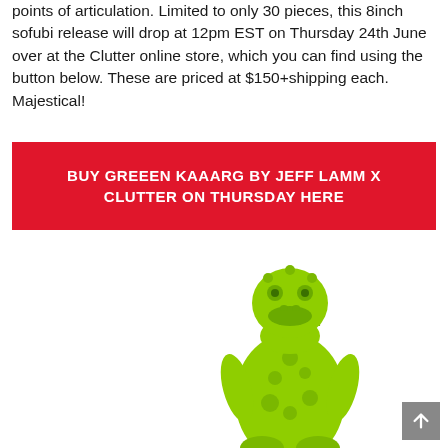points of articulation. Limited to only 30 pieces, this 8inch sofubi release will drop at 12pm EST on Thursday 24th June over at the Clutter online store, which you can find using the button below. These are priced at $150+shipping each. Majestical!
BUY GREEEN KAAARG BY JEFF LAMM X CLUTTER ON THURSDAY HERE
[Figure (photo): Bright neon green vinyl/sofubi toy figure of a monster character (Kaaarg), shown from the front with textured scaly body, large head with frog-like features, and articulated arms.]